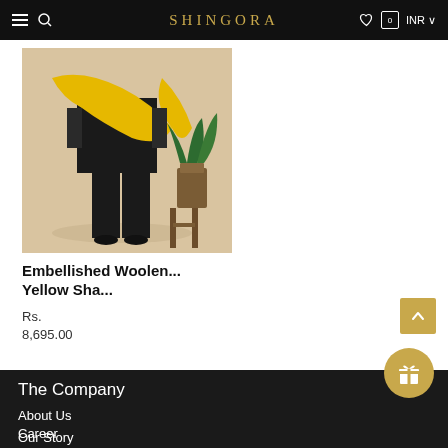SHINGORA — Navigation header with hamburger menu, search icon, logo, heart icon, cart (0), and INR currency selector
[Figure (photo): Product photo of a model wearing a yellow woolen shawl over a black outfit, standing next to a wooden stool and a potted plant, on a beige background]
Embellished Woolen... Yellow Sha...
Rs.
8,695.00
The Company
About Us
Career
Our Story